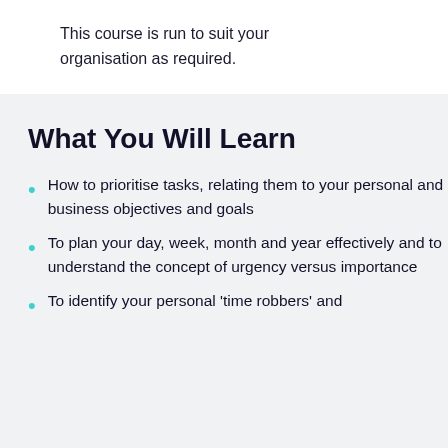This course is run to suit your organisation as required.
What You Will Learn
How to prioritise tasks, relating them to your personal and business objectives and goals
To plan your day, week, month and year effectively and to understand the concept of urgency versus importance
To identify your personal 'time robbers' and